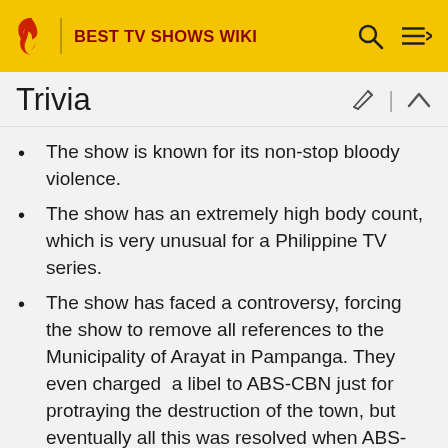BEST TV SHOWS WIKI
Trivia
The show is known for its non-stop bloody violence.
The show has an extremely high body count, which is very unusual for a Philippine TV series.
The show has faced a controversy, forcing the show to remove all references to the Municipality of Arayat in Pampanga. They even charged  a libel to ABS-CBN just for protraying the destruction of the town, but eventually all this was resolved when ABS-CBN finally apologized to them.
Stay up to date on your Fandom
Sign up below to receive a fandom newsletter